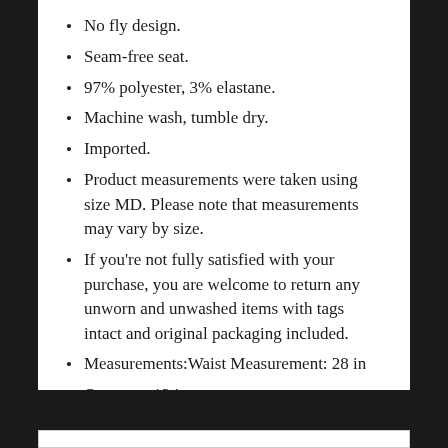No fly design.
Seam-free seat.
97% polyester, 3% elastane.
Machine wash, tumble dry.
Imported.
Product measurements were taken using size MD. Please note that measurements may vary by size.
If you're not fully satisfied with your purchase, you are welcome to return any unworn and unwashed items with tags intact and original packaging included.
Measurements:Waist Measurement: 28 in
Outseam: 13 in
Inseam: 4 in
Front Rise: 10 in
Back Rise: 10 in
Leg Opening: 20 in